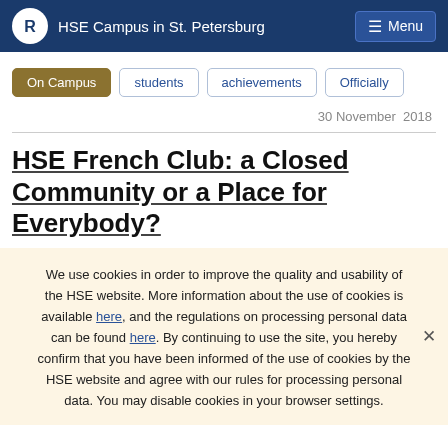HSE Campus in St. Petersburg
On Campus
students
achievements
Officially
30 November  2018
HSE French Club: a Closed Community or a Place for Everybody?
We use cookies in order to improve the quality and usability of the HSE website. More information about the use of cookies is available here, and the regulations on processing personal data can be found here. By continuing to use the site, you hereby confirm that you have been informed of the use of cookies by the HSE website and agree with our rules for processing personal data. You may disable cookies in your browser settings.